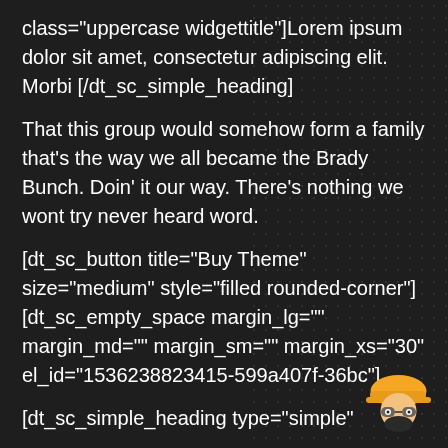class="uppercase widgettitle"]Lorem ipsum dolor sit amet, consectetur adipiscing elit. Morbi [/dt_sc_simple_heading]
That this group would somehow form a family that's the way we all became the Brady Bunch. Doin' it our way. There's nothing we wont try never heard word.
[dt_sc_button title="Buy Theme" size="medium" style="filled rounded-corner"][dt_sc_empty_space margin_lg="" margin_md="" margin_sm="" margin_xs="30" el_id="1536238823415-599a407f-36bc"]
[dt_sc_simple_heading type="simple"